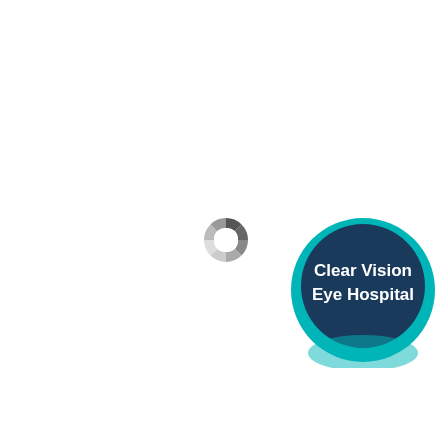[Figure (logo): A loading spinner icon (donut/ring shape with segmented arcs in shades of gray) centered in the upper-middle area of the page, and a circular badge logo in the lower-right with a teal/turquoise border, dark navy blue fill, and white bold text reading 'Clear Vision Eye Hospital'.]